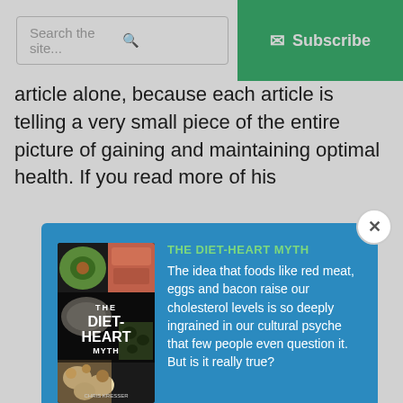Search the site...  Subscribe
article alone, because each article is telling a very small piece of the entire picture of gaining and maintaining optimal health. If you read more of his
[Figure (screenshot): Modal popup overlay on a website promoting 'The Diet-Heart Myth' by Chris Kresser. Contains book cover image, description text, email input field, and Download Now button. Background is blue (#2b8abf). Title in green text: 'THE DIET-HEART MYTH'. Body text in white describes the idea that foods like red meat, eggs and bacon raise cholesterol levels.]
THE DIET-HEART MYTH
The idea that foods like red meat, eggs and bacon raise our cholesterol levels is so deeply ingrained in our cultural psyche that few people even question it. But is it really true?
Your email address
Download Now